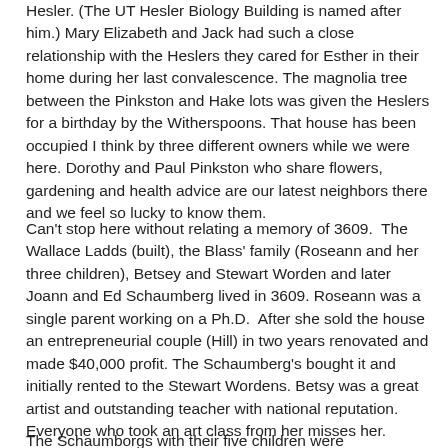Hesler. (The UT Hesler Biology Building is named after him.) Mary Elizabeth and Jack had such a close relationship with the Heslers they cared for Esther in their home during her last convalescence. The magnolia tree between the Pinkston and Hake lots was given the Heslers for a birthday by the Witherspoons. That house has been occupied I think by three different owners while we were here. Dorothy and Paul Pinkston who share flowers, gardening and health advice are our latest neighbors there and we feel so lucky to know them.
Can't stop here without relating a memory of 3609. The Wallace Ladds (built), the Blass' family (Roseann and her three children), Betsey and Stewart Worden and later Joann and Ed Schaumberg lived in 3609. Roseann was a single parent working on a Ph.D. After she sold the house an entrepreneurial couple (Hill) in two years renovated and made $40,000 profit. The Schaumberg's bought it and initially rented to the Stewart Wordens. Betsy was a great artist and outstanding teacher with national reputation. Everyone who took an art class from her misses her.
The Schaumborgs with their five children were unforgettable